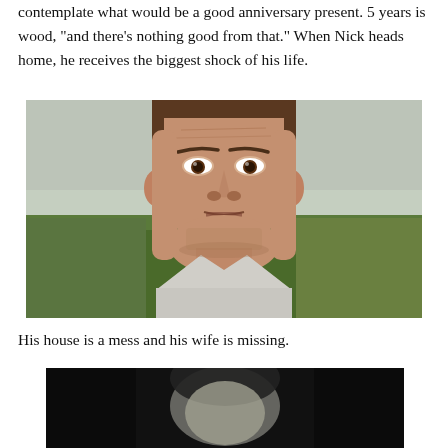contemplate what would be a good anniversary present. 5 years is wood, "and there's nothing good from that." When Nick heads home, he receives the biggest shock of his life.
[Figure (photo): Close-up of a man (actor) with a serious/shocked expression standing outdoors in front of green trees and an overcast sky.]
His house is a mess and his wife is missing.
[Figure (photo): Black and white image of a person, partially visible, dark tones.]